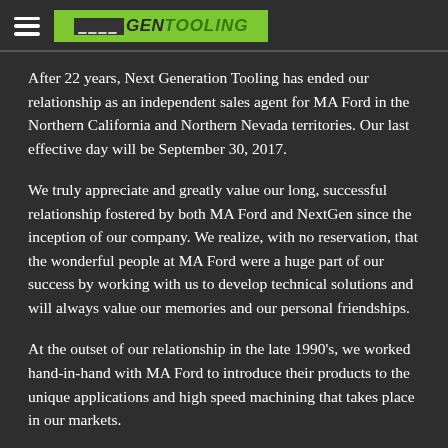NextGen Tooling (logo)
After 22 years, Next Generation Tooling has ended our relationship as an independent sales agent for MA Ford in the Northern California and Northern Nevada territories. Our last effective day will be September 30, 2017.
We truly appreciate and greatly value our long, successful relationship fostered by both MA Ford and NextGen since the inception of our company. We realize, with no reservation, that the wonderful people at MA Ford were a huge part of our success by working with us to develop technical solutions and will always value our memories and our personal friendships.
At the outset of our relationship in the late 1990's, we worked hand-in-hand with MA Ford to introduce their products to the unique applications and high speed machining that takes place in our markets.